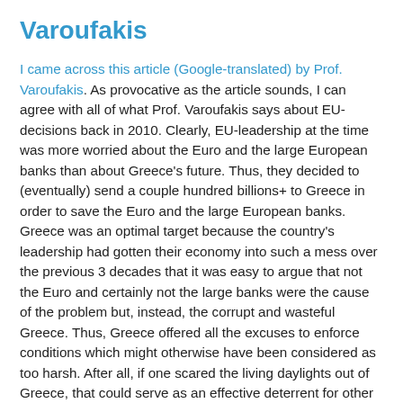Varoufakis
I came across this article (Google-translated) by Prof. Varoufakis. As provocative as the article sounds, I can agree with all of what Prof. Varoufakis says about EU-decisions back in 2010. Clearly, EU-leadership at the time was more worried about the Euro and the large European banks than about Greece's future. Thus, they decided to (eventually) send a couple hundred billions+ to Greece in order to save the Euro and the large European banks. Greece was an optimal target because the country's leadership had gotten their economy into such a mess over the previous 3 decades that it was easy to argue that not the Euro and certainly not the large banks were the cause of the problem but, instead, the corrupt and wasteful Greece. Thus, Greece offered all the excuses to enforce conditions which might otherwise have been considered as too harsh. After all, if one scared the living daylights out of Greece, that could serve as an effective deterrent for other countries.
There are some subtle points in the article which I could not subscribe to. When one talks about the distinction between...